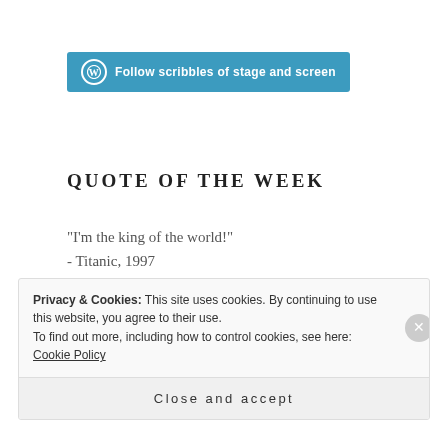[Figure (other): WordPress follow button with logo — 'Follow scribbles of stage and screen']
QUOTE OF THE WEEK
"I'm the king of the world!"
- Titanic, 1997
Privacy & Cookies: This site uses cookies. By continuing to use this website, you agree to their use. To find out more, including how to control cookies, see here: Cookie Policy
Close and accept